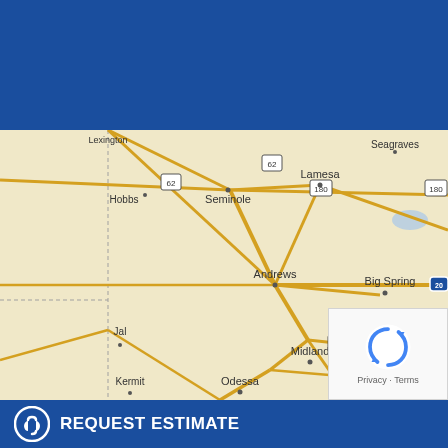[Figure (other): Solid dark blue header banner background]
[Figure (map): Google Maps view showing West Texas region including cities: Seagraves, Seminole, Lamesa, Hobbs, Andrews, Big Spring, Stanton, Jal, Midland, Odessa, Kermit, Garden City. Roads including US-62, US-180, US-385, I-20, TX-87, TX-208 visible.]
REQUEST ESTIMATE